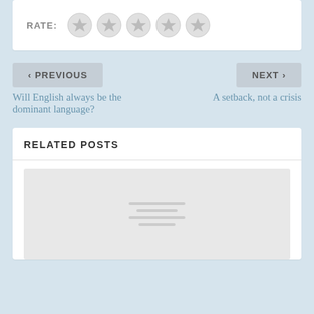[Figure (other): Star rating widget with label RATE: and five grey star icons]
< PREVIOUS
NEXT >
Will English always be the dominant language?
A setback, not a crisis
RELATED POSTS
[Figure (other): Placeholder image for a related post with grey background and placeholder line art]